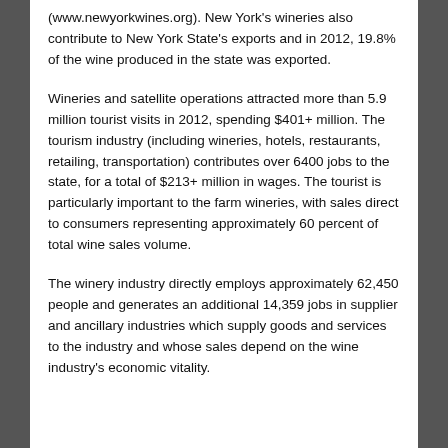(www.newyorkwines.org). New York's wineries also contribute to New York State's exports and in 2012, 19.8% of the wine produced in the state was exported.
Wineries and satellite operations attracted more than 5.9 million tourist visits in 2012, spending $401+ million. The tourism industry (including wineries, hotels, restaurants, retailing, transportation) contributes over 6400 jobs to the state, for a total of $213+ million in wages. The tourist is particularly important to the farm wineries, with sales direct to consumers representing approximately 60 percent of total wine sales volume.
The winery industry directly employs approximately 62,450 people and generates an additional 14,359 jobs in supplier and ancillary industries which supply goods and services to the industry and whose sales depend on the wine industry's economic vitality.